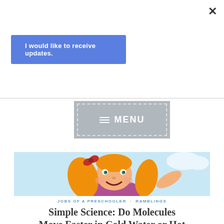×
I would like to receive updates.
[Figure (screenshot): Menu navigation bar with gray background showing hamburger icon and MENU text]
[Figure (illustration): Cartoon illustration of a smiling young girl with orange pigtails and a red bow, wearing a purple shirt, on a light blue background]
JOBS OF A PRESCHOOLER · RAMBLINGS
Simple Science: Do Molecules Move Faster in Cold Water or Hot Water?